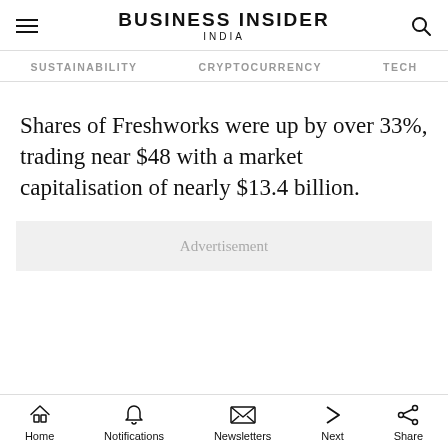BUSINESS INSIDER INDIA
SUSTAINABILITY   CRYPTOCURRENCY   TECH
Shares of Freshworks were up by over 33%, trading near $48 with a market capitalisation of nearly $13.4 billion.
Advertisement
Home   Notifications   Newsletters   Next   Share